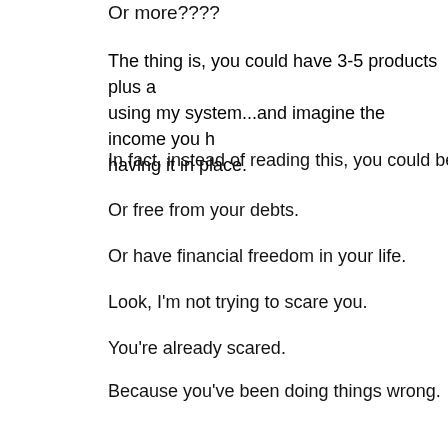Or more????
The thing is, you could have 3-5 products plus a using my system...and imagine the income you h having it in place.
In fact, instead of reading this, you could be vaca
Or free from your debts.
Or have financial freedom in your life.
Look, I'm not trying to scare you.
You're already scared.
Because you've been doing things wrong.
And you are getting bad results as an impact of c
Are you ready to start today doing things right, bu compels people to buy from you and NOT from y